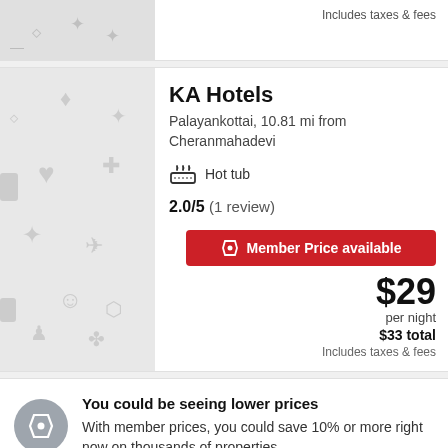Includes taxes & fees
KA Hotels
Palayankottai, 10.81 mi from Cheranmahadevi
Hot tub
2.0/5 (1 review)
Member Price available
$29
per night
$33 total
Includes taxes & fees
You could be seeing lower prices
With member prices, you could save 10% or more right now on thousands of properties.
Sign up, it's free   Sign in